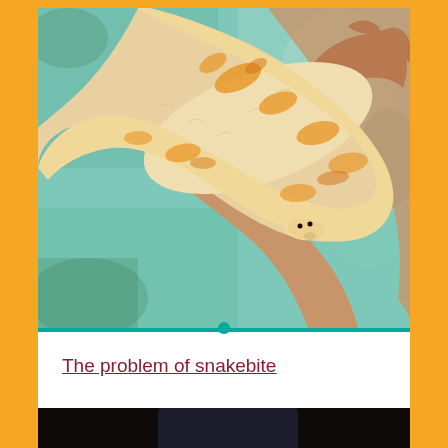[Figure (photo): Close-up photo of a person holding a large albino python snake with orange and white patterned scales, against a blurred teal/green background.]
The problem of snakebite
[Figure (photo): Dark photo showing a person sitting, partially visible from waist down, wearing dark pants, with feet visible on a dark background.]